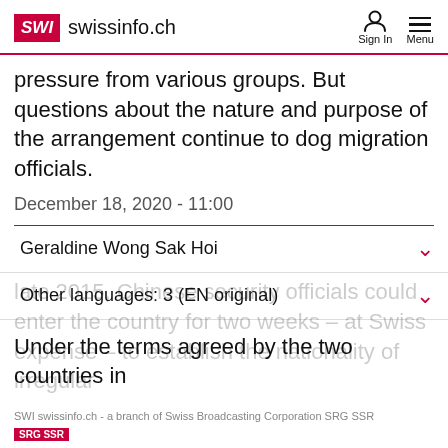SWI swissinfo.ch
pressure from various groups. But questions about the nature and purpose of the arrangement continue to dog migration officials.
December 18, 2020 - 11:00
Geraldine Wong Sak Hoi
Other languages: 3 (EN original)
Under the terms agreed by the two countries in late 2015, Chinese security officials could enter the country for two weeks – at Swiss expense – to establish the nationality of irregular
SWI swissinfo.ch - a branch of Swiss Broadcasting Corporation SRG SSR